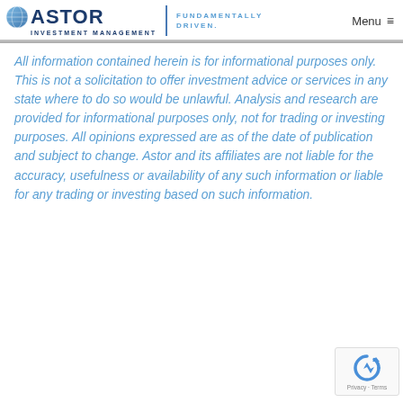[Figure (logo): Astor Investment Management logo with globe icon, company name, tagline 'FUNDAMENTALLY DRIVEN.' and Menu navigation element]
All information contained herein is for informational purposes only. This is not a solicitation to offer investment advice or services in any state where to do so would be unlawful. Analysis and research are provided for informational purposes only, not for trading or investing purposes. All opinions expressed are as of the date of publication and subject to change. Astor and its affiliates are not liable for the accuracy, usefulness or availability of any such information or liable for any trading or investing based on such information.